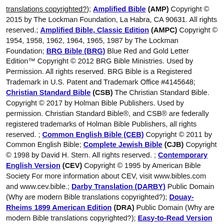translations copyrighted?); Amplified Bible (AMP) Copyright © 2015 by The Lockman Foundation, La Habra, CA 90631. All rights reserved.; Amplified Bible, Classic Edition (AMPC) Copyright © 1954, 1958, 1962, 1964, 1965, 1987 by The Lockman Foundation; BRG Bible (BRG) Blue Red and Gold Letter Edition™ Copyright © 2012 BRG Bible Ministries. Used by Permission. All rights reserved. BRG Bible is a Registered Trademark in U.S. Patent and Trademark Office #4145648; Christian Standard Bible (CSB) The Christian Standard Bible. Copyright © 2017 by Holman Bible Publishers. Used by permission. Christian Standard Bible®, and CSB® are federally registered trademarks of Holman Bible Publishers, all rights reserved. ; Common English Bible (CEB) Copyright © 2011 by Common English Bible; Complete Jewish Bible (CJB) Copyright © 1998 by David H. Stern. All rights reserved. ; Contemporary English Version (CEV) Copyright © 1995 by American Bible Society For more information about CEV, visit www.bibles.com and www.cev.bible.; Darby Translation (DARBY) Public Domain (Why are modern Bible translations copyrighted?); Douay-Rheims 1899 American Edition (DRA) Public Domain (Why are modern Bible translations copyrighted?); Easy-to-Read Version (ERV) Copyright © 2006 by Bible League...